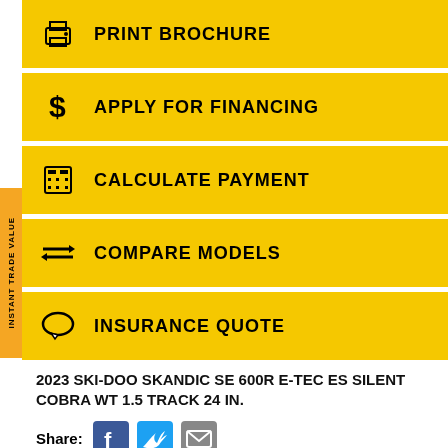PRINT BROCHURE
APPLY FOR FINANCING
CALCULATE PAYMENT
COMPARE MODELS
INSURANCE QUOTE
2023 SKI-DOO SKANDIC SE 600R E-TEC ES SILENT COBRA WT 1.5 TRACK 24 IN.
Share:
| Condition | New |
| --- | --- |
| Category | Snowmobiles |